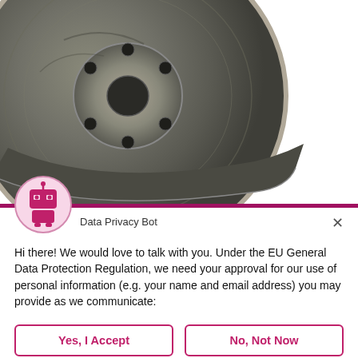[Figure (photo): A car brake disc rotor photographed from above at an angle, showing the metallic grey disc with ventilation holes and a central hub. The lower portion is visible with the disc occupying the left side of the top half of the page.]
[Figure (illustration): A pink robot icon inside a light pink circle, representing a Data Privacy Bot chatbot avatar.]
Data Privacy Bot
Hi there! We would love to talk with you. Under the EU General Data Protection Regulation, we need your approval for our use of personal information (e.g. your name and email address) you may provide as we communicate:
Yes, I Accept
No, Not Now